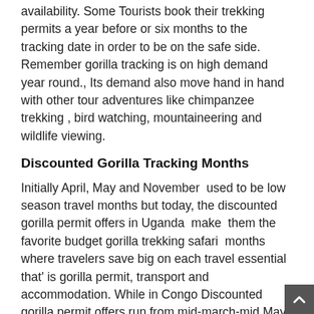availability. Some Tourists book their trekking permits a year before or six months to the tracking date in order to be on the safe side. Remember gorilla tracking is on high demand year round., Its demand also move hand in hand with other tour adventures like chimpanzee trekking , bird watching, mountaineering and wildlife viewing.
Discounted Gorilla Tracking Months
Initially April, May and November  used to be low season travel months but today, the discounted gorilla permit offers in Uganda  make  them the favorite budget gorilla trekking safari  months where travelers save big on each travel essential that' is gorilla permit, transport and accommodation. While in Congo Discounted gorilla permit offers run from mid-march-mid May & mid October-mid November every year. Gorilla permits in Uganda cost US$450 while Congo gorilla permits go for only US$200 If you planning to